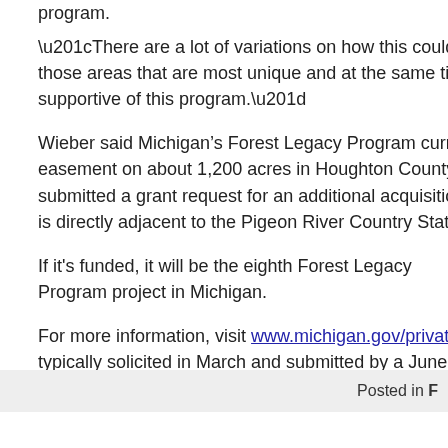program.
“There are a lot of variations on how this could be handled,” Huff said. “I think Leg those areas that are most unique and at the same time in danger of being lost. M supportive of this program.”
Wieber said Michigan’s Forest Legacy Program currently has funding for the acqu easement on about 1,200 acres in Houghton County on the Pilgrim River, just sou submitted a grant request for an additional acquisition—Elk Forest at Black River. is directly adjacent to the Pigeon River Country State Forest, and includes a mile
If it's funded, it will be the eighth Forest Legacy Program project in Michigan.
For more information, visit www.michigan.gov/privateforestland. Applications for th typically solicited in March and submitted by a June deadline.
Posted in F